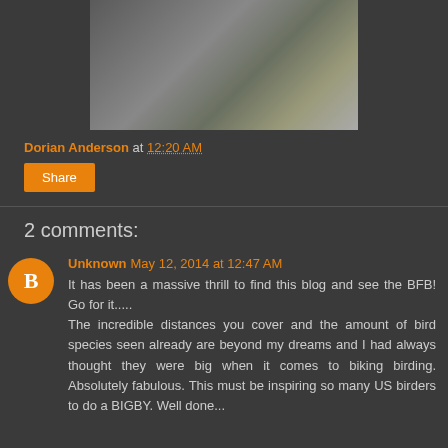[Figure (photo): Person lying on a bed using a laptop computer, wearing khaki pants and a gray shirt]
Dorian Anderson at 12:20 AM
Share
2 comments:
Unknown May 12, 2014 at 12:47 AM
It has been a massive thrill to find this blog and see the BFB! Go for it.....
The incredible distances you cover and the amount of bird species seen already are beyond my dreams and I had always thought they were big when it comes to biking birding. Absolutely fabulous. This must be inspiring so many US birders to do a BIGBY. Well done...